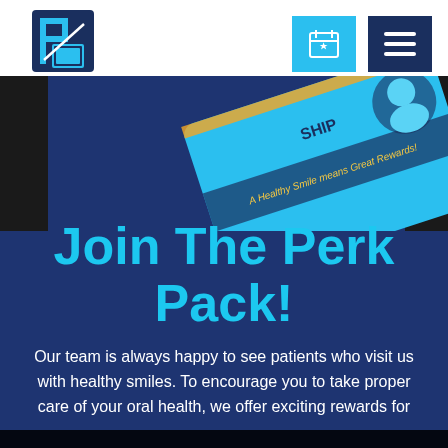[Figure (logo): Dental practice logo — stylized 'P' and tooth shapes in blue and white square icon]
[Figure (illustration): Blue membership/rewards card tilted at an angle with text 'A Healthy Smile means Great Rewards!' in yellow]
Join The Perk Pack!
Our team is always happy to see patients who visit us with healthy smiles. To encourage you to take proper care of your oral health, we offer exciting rewards for